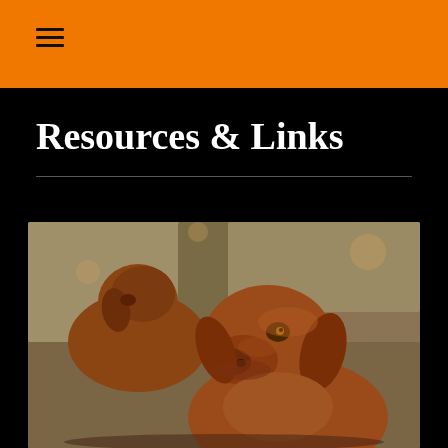≡
Resources & Links
[Figure (photo): Two Vizsla dogs outdoors. In the foreground, a close-up of a brown Vizsla dog looking to the left with a blurred background of trees. A second Vizsla is visible in the background, slightly out of focus.]